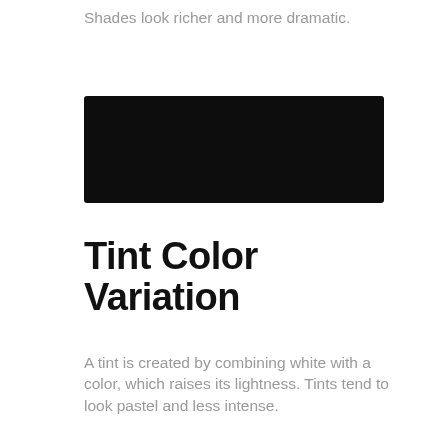Shades look richer and more dramatic.
[Figure (illustration): A solid near-black rectangular color swatch]
Tint Color Variation
A tint is created by combining white with a color, which raises its lightness. Tints tend to look pastel and less intense.